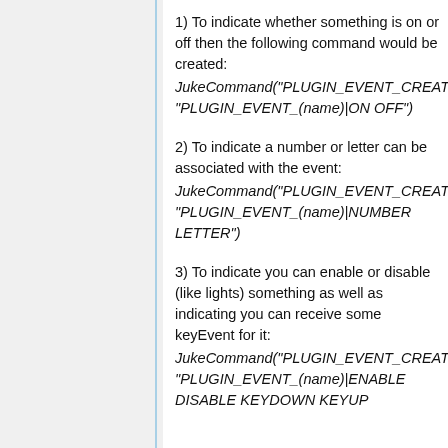1) To indicate whether something is on or off then the following command would be created: JukeCommand("PLUGIN_EVENT_CREATE... "PLUGIN_EVENT_(name)|ON OFF")
2) To indicate a number or letter can be associated with the event: JukeCommand("PLUGIN_EVENT_CREATE... "PLUGIN_EVENT_(name)|NUMBER LETTER")
3) To indicate you can enable or disable (like lights) something as well as indicating you can receive some keyEvent for it: JukeCommand("PLUGIN_EVENT_CREATE... "PLUGIN_EVENT_(name)|ENABLE DISABLE KEYDOWN KEYUP